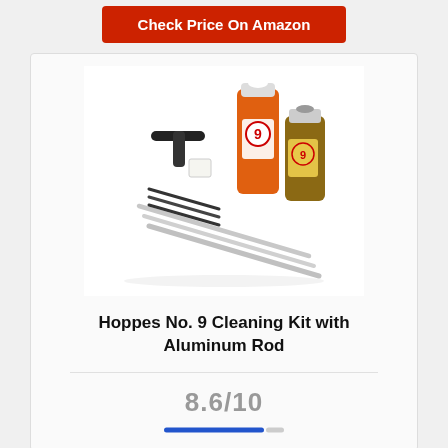[Figure (other): Red 'Check Price On Amazon' button at top of page]
[Figure (photo): Hoppes No. 9 Cleaning Kit with Aluminum Rod product photo showing cleaning rods, brushes, patches, and two bottles of Hoppe's No. 9 solvent on white background]
Hoppes No. 9 Cleaning Kit with Aluminum Rod
8.6/10
[Figure (other): Horizontal score bar: blue filled portion and small gray unfilled portion representing 8.6 out of 10]
[Figure (other): Partial red 'Check Price On Amazon' button visible at bottom of page (cut off)]